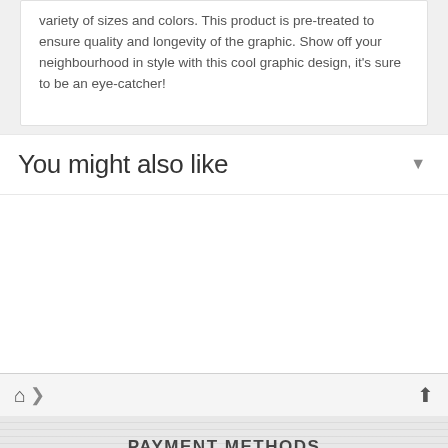variety of sizes and colors. This product is pre-treated to ensure quality and longevity of the graphic. Show off your neighbourhood in style with this cool graphic design, it's sure to be an eye-catcher!
You might also like
PAYMENT METHODS